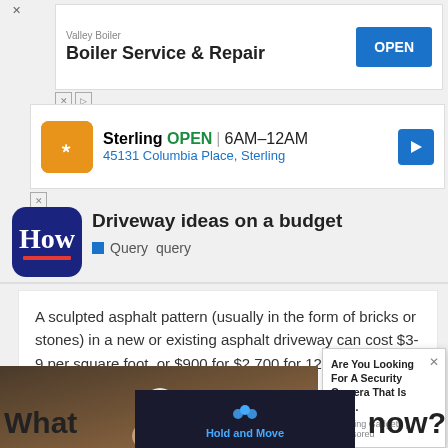[Figure (screenshot): Advertisement for Valley Boiler - Boiler Service & Repair with OPEN button]
[Figure (screenshot): Advertisement for Sterling restaurant - OPEN 6AM-12AM, 45131 Columbia Place, Sterling with navigation arrow]
Driveway ideas on a budget
Query  query
A sculpted asphalt pattern (usually in the form of bricks or stones) in a new or existing asphalt driveway can cost $3-9 per square foot, or $900 for $2,700 for 12x25, or $3,600 for 24x50 stamps.
[Figure (photo): Hand holding a security camera shaped like a light bulb]
[Figure (screenshot): Ad overlay: Are You Looking For A Security Camera That Is Eas... Trending Gadgets | Sponsored]
What
now?